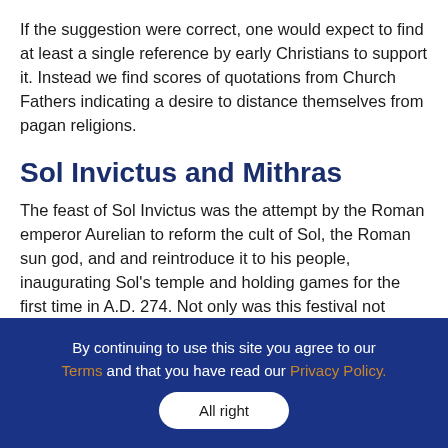If the suggestion were correct, one would expect to find at least a single reference by early Christians to support it. Instead we find scores of quotations from Church Fathers indicating a desire to distance themselves from pagan religions.
Sol Invictus and Mithras
The feast of Sol Invictus was the attempt by the Roman emperor Aurelian to reform the cult of Sol, the Roman sun god, and and reintroduce it to his people, inaugurating Sol's temple and holding games for the first time in A.D. 274. Not only was this festival not annual, it also cannot be historically documented as
By continuing to use this site you agree to our Terms and that you have read our Privacy Policy. All right